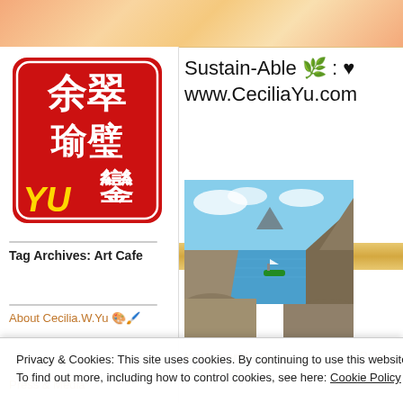[Figure (illustration): Decorative watercolor/marble top banner in warm orange, peach, and gold tones]
[Figure (logo): Chinese red seal stamp logo with white Chinese characters, yellow 'YU' text at bottom left]
Sustain-Able 🌿 : ♥ www.CeciliaYu.com
[Figure (photo): Coastal scenic photo showing a blue sea with a boat and dramatic rocky cliffs/islands under a partly cloudy sky]
Tag Archives: Art Cafe
About Cecilia.W.Yu 🎨🖌️
Kel1st and #Yu #Summer
Prote
Privacy & Cookies: This site uses cookies. By continuing to use this website, you agree to their use.
To find out more, including how to control cookies, see here: Cookie Policy
Close and accept
Press & Media